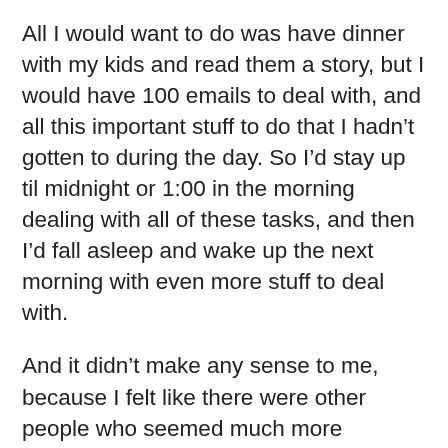All I would want to do was have dinner with my kids and read them a story, but I would have 100 emails to deal with, and all this important stuff to do that I hadn't gotten to during the day. So I'd stay up til midnight or 1:00 in the morning dealing with all of these tasks, and then I'd fall asleep and wake up the next morning with even more stuff to deal with.
And it didn't make any sense to me, because I felt like there were other people who seemed much more successful than me, and seemed much less stressed out. Why were they able to get more important things done?